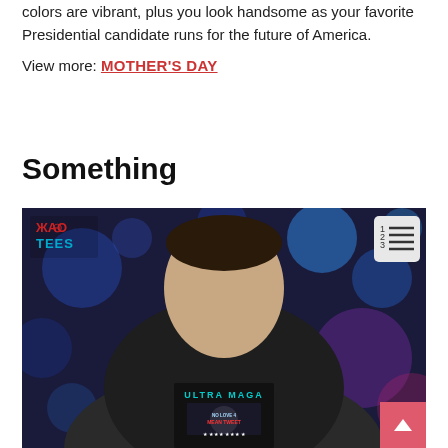colors are vibrant, plus you look handsome as your favorite Presidential candidate runs for the future of America.
View more: MOTHER'S DAY
Something
[Figure (photo): Young man wearing a dark 'Ultra MAGA' graphic t-shirt with bokeh city lights in background. The shirt displays a stylized political character graphic with text reading 'ULTRA MAGA' and 'NO LOVE 4 MEAN TWEET'. A logo reading 'XAO TEES' appears top-left of the image, and a numbered list icon appears top-right.]